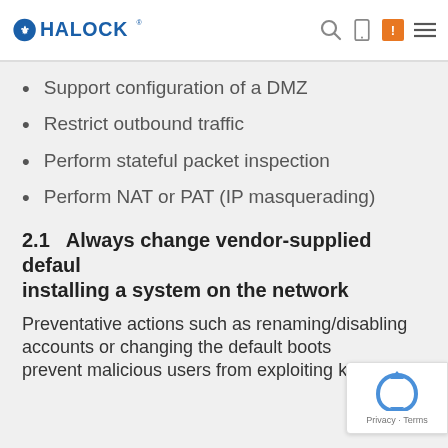HALOCK
Support configuration of a DMZ
Restrict outbound traffic
Perform stateful packet inspection
Perform NAT or PAT (IP masquerading)
2.1   Always change vendor-supplied default installing a system on the network
Preventative actions such as renaming/disabling accounts or changing the default boots prevent malicious users from exploiting known